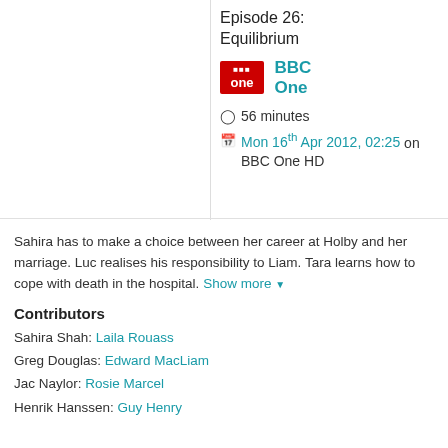Episode 26: Equilibrium
BBC One
56 minutes
Mon 16th Apr 2012, 02:25 on BBC One HD
Sahira has to make a choice between her career at Holby and her marriage. Luc realises his responsibility to Liam. Tara learns how to cope with death in the hospital. Show more
Contributors
Sahira Shah: Laila Rouass
Greg Douglas: Edward MacLiam
Jac Naylor: Rosie Marcel
Henrik Hanssen: Guy Henry